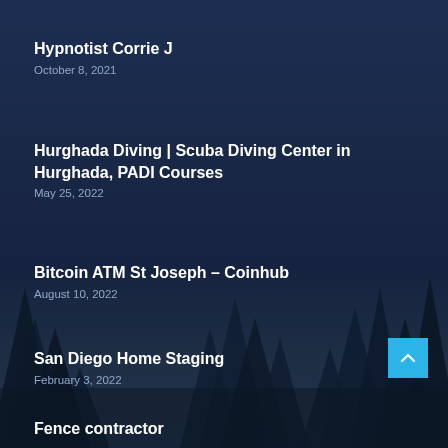Hypnotist Corrie J
October 8, 2021
Hurghada Diving | Scuba Diving Center in Hurghada, PADI Courses
May 25, 2022
Bitcoin ATM St Joseph – Coinhub
August 10, 2022
San Diego Home Staging
February 3, 2022
Fence contractor